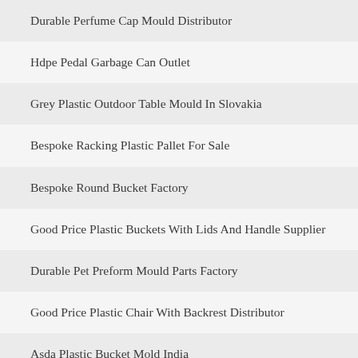Durable Perfume Cap Mould Distributor
Hdpe Pedal Garbage Can Outlet
Grey Plastic Outdoor Table Mould In Slovakia
Bespoke Racking Plastic Pallet For Sale
Bespoke Round Bucket Factory
Good Price Plastic Buckets With Lids And Handle Supplier
Durable Pet Preform Mould Parts Factory
Good Price Plastic Chair With Backrest Distributor
Asda Plastic Bucket Mold India
Inexpensive Outdoor Garden Chair For Sale